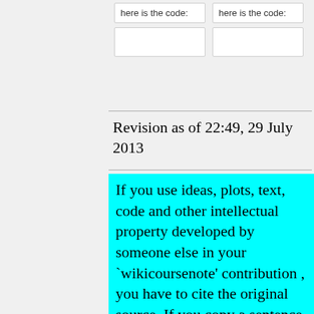[Figure (screenshot): Two form fields each labeled 'here is the code:' with empty input boxes below, on a light gray background]
Revision as of 22:49, 29 July 2013
If you use ideas, plots, text, code and other intellectual property developed by someone else in your `wikicoursenote' contribution , you have to cite the original source. If you copy a sentence or a paragraph from work done